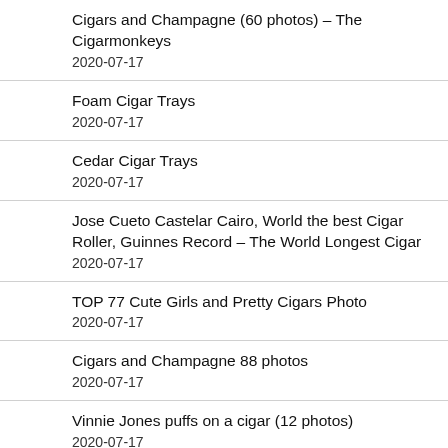Cigars and Champagne (60 photos) – The Cigarmonkeys
2020-07-17
Foam Cigar Trays
2020-07-17
Cedar Cigar Trays
2020-07-17
Jose Cueto Castelar Cairo, World the best Cigar Roller, Guinnes Record – The World Longest Cigar
2020-07-17
TOP 77 Cute Girls and Pretty Cigars Photo
2020-07-17
Cigars and Champagne 88 photos
2020-07-17
Vinnie Jones puffs on a cigar (12 photos)
2020-07-17